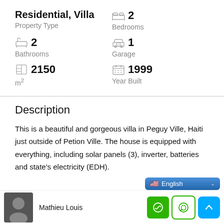Residential, Villa
Property Type
2
Bedrooms
2
Bathrooms
1
Garage
2150
m²
1999
Year Built
Description
This is a beautiful and gorgeous villa in Peguy Ville, Haiti just outside of Petion Ville. The house is equipped with everything, including solar panels (3), inverter, batteries and state's electricity (EDH).
Mathieu Louis